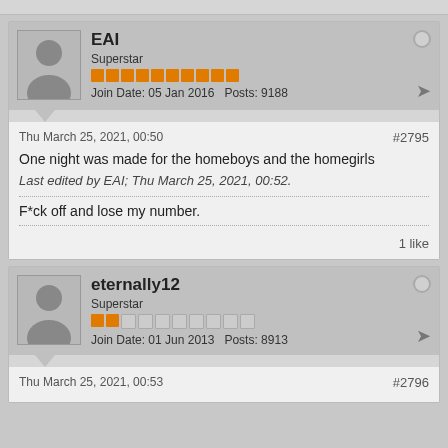EAI
Superstar
Join Date: 05 Jan 2016  Posts: 9188
Thu March 25, 2021, 00:50
#2795
One night was made for the homeboys and the homegirls
Last edited by EAI; Thu March 25, 2021, 00:52.
F*ck off and lose my number.
1 like
eternally12
Superstar
Join Date: 01 Jun 2013  Posts: 8913
Thu March 25, 2021, 00:53
#2796